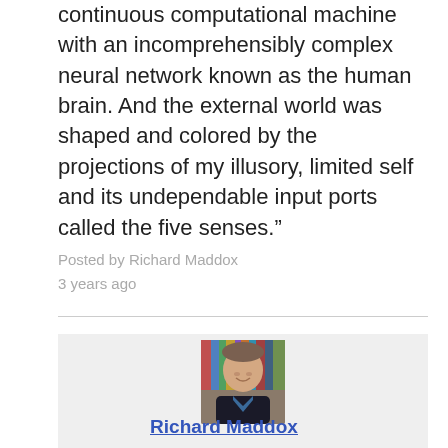continuous computational machine with an incomprehensibly complex neural network known as the human brain. And the external world was shaped and colored by the projections of my illusory, limited self and its undependable input ports called the five senses.”
Posted by Richard Maddox
3 years ago
[Figure (photo): Author profile photo of Richard Maddox, a middle-aged man smiling, wearing a dark jacket and blue shirt, with bookshelves in the background.]
Richard Maddox